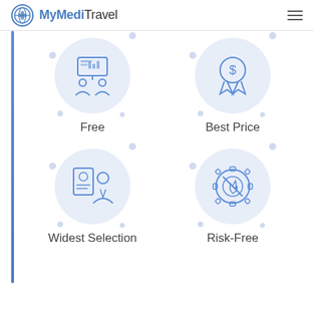MyMediTravel
[Figure (illustration): Icon illustration of two people at a presentation/meeting with a chart board, representing a free service]
Free
[Figure (illustration): Icon illustration of a dollar sign award/ribbon badge, representing best price]
Best Price
[Figure (illustration): Icon illustration of a person holding an ID card, representing widest selection]
Widest Selection
[Figure (illustration): Icon illustration of a gear with a flame and prohibition symbol, representing risk-free]
Risk-Free